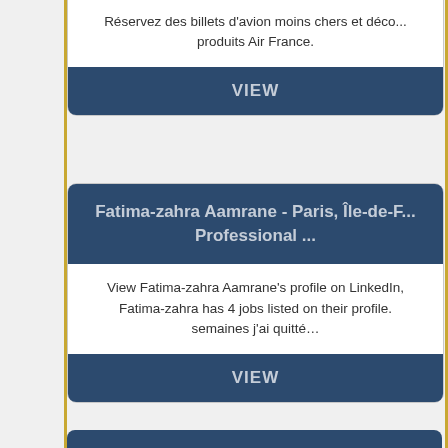Réservez des billets d'avion moins chers et déco... produits Air France.
VIEW
Fatima-zahra Aamrane - Paris, Île-de-F... Professional ...
View Fatima-zahra Aamrane's profile on LinkedIn, Fatima-zahra has 4 jobs listed on their profile. semaines j'ai quitté…
VIEW